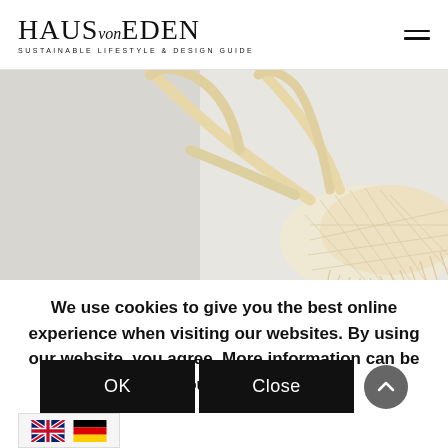HAUS von EDEN – SUSTAINABLE LIFESTYLE & DESIGN GUIDE
[Figure (photo): Overhead shot of a cream/beige mesh net bag with handles laid on a light grey surface. The bag occupies the right half of the image with its strap spread across the center.]
We use cookies to give you the best online experience when visiting our websites. By using our website, you agree. More information can be found in our Privacy Policy
OK
Close